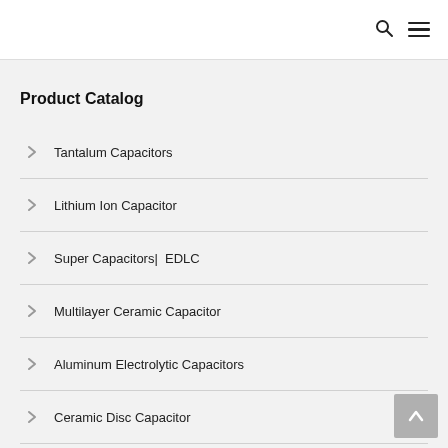Product Catalog
Tantalum Capacitors
Lithium Ion Capacitor
Super Capacitors|  EDLC
Multilayer Ceramic Capacitor
Aluminum Electrolytic Capacitors
Ceramic Disc Capacitor